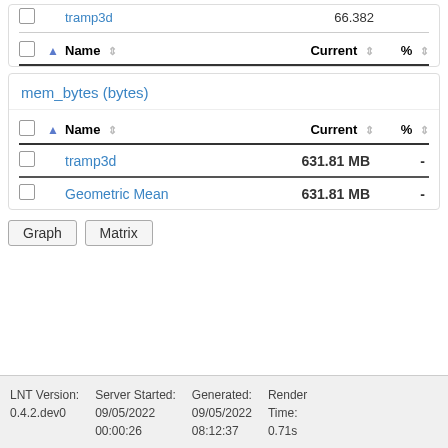|  |  | Name | Current | % |
| --- | --- | --- | --- | --- |
|  |  | tramp3d | 66.382 |  |
|  |  | Name | Current | % |
| --- | --- | --- | --- | --- |
|  |  | tramp3d | 631.81 MB | - |
|  |  | Geometric Mean | 631.81 MB | - |
Graph   Matrix
LNT Version: 0.4.2.dev0   Server Started: 09/05/2022 00:00:26   Generated: 09/05/2022 08:12:37   Render Time: 0.71s